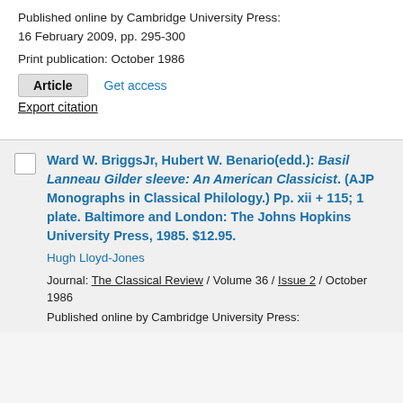Published online by Cambridge University Press: 16 February 2009, pp. 295-300
Print publication: October 1986
Article   Get access
Export citation
Ward W. BriggsJr, Hubert W. Benario(edd.): Basil Lanneau Gilder sleeve: An American Classicist. (AJP Monographs in Classical Philology.) Pp. xii + 115; 1 plate. Baltimore and London: The Johns Hopkins University Press, 1985. $12.95.
Hugh Lloyd-Jones
Journal: The Classical Review / Volume 36 / Issue 2 / October 1986
Published online by Cambridge University Press: